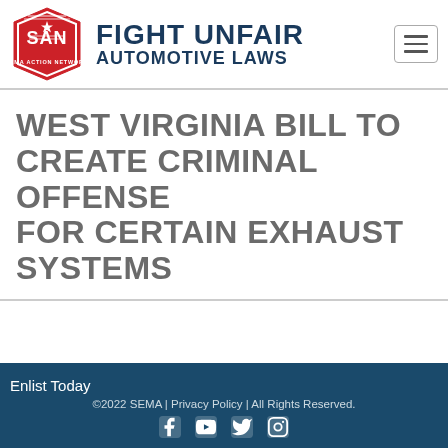[Figure (logo): SAN SEMA Action Network red shield/hexagon logo]
FIGHT UNFAIR AUTOMOTIVE LAWS
WEST VIRGINIA BILL TO CREATE CRIMINAL OFFENSE FOR CERTAIN EXHAUST SYSTEMS
Enlist Today
©2022 SEMA | Privacy Policy | All Rights Reserved.